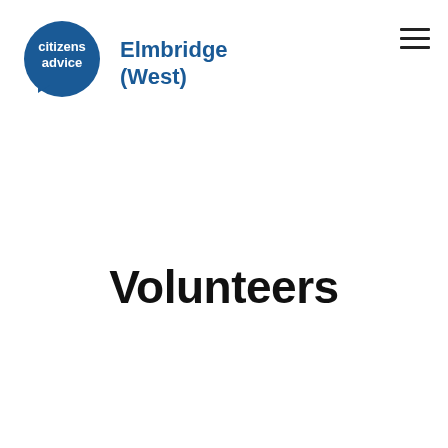[Figure (logo): Citizens Advice Elmbridge (West) logo: a dark blue speech bubble circle with 'citizens advice' in white text, next to 'Elmbridge (West)' in dark blue bold text]
[Figure (other): Hamburger menu icon (three horizontal lines) in the top right corner]
Volunteers